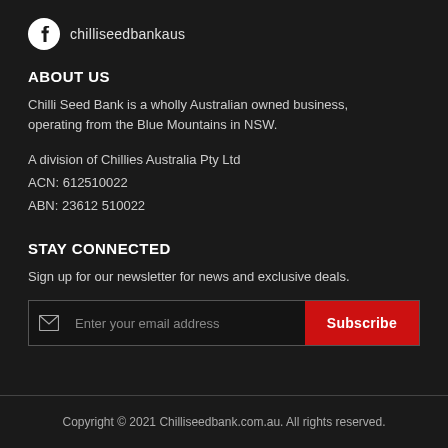[Figure (logo): Facebook circle icon with username chilliseedbankaus]
ABOUT US
Chilli Seed Bank is a wholly Australian owned business, operating from the Blue Mountains in NSW.
A division of Chillies Australia Pty Ltd
ACN: 612510022
ABN: 23612 510022
STAY CONNECTED
Sign up for our newsletter for news and exclusive deals.
[Figure (other): Email subscription input field with envelope icon, placeholder text 'Enter your email address', and a red Subscribe button]
Copyright © 2021 Chilliseedbank.com.au. All rights reserved.